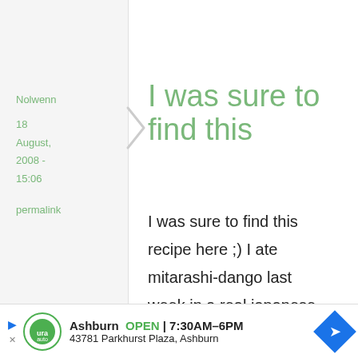Nolwenn
18
August,
2008 -
15:06
permalink
I was sure to find this
I was sure to find this recipe here ;) I ate mitarashi-dango last week in a real japanese restaurant and then I'm obsessed by finded the recipe to make it at
Ashburn  OPEN | 7:30AM–6PM
43781 Parkhurst Plaza, Ashburn